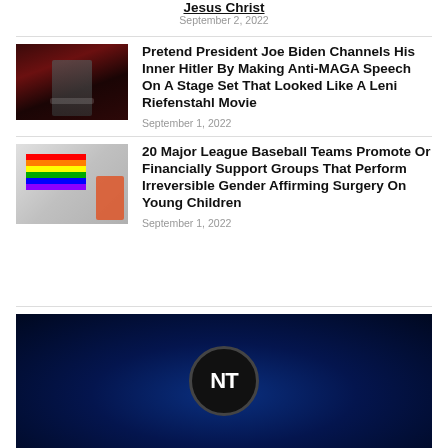Jesus Christ
September 2, 2022
Pretend President Joe Biden Channels His Inner Hitler By Making Anti-MAGA Speech On A Stage Set That Looked Like A Leni Riefenstahl Movie
September 1, 2022
20 Major League Baseball Teams Promote Or Financially Support Groups That Perform Irreversible Gender Affirming Surgery On Young Children
September 1, 2022
[Figure (photo): Dark blue/red stage setting with figure at podium, NT logo circle]